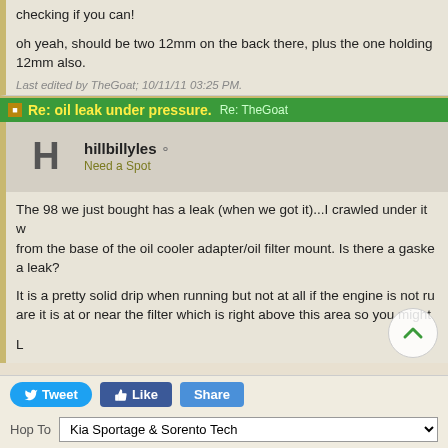checking if you can!
oh yeah, should be two 12mm on the back there, plus the one holding 12mm also.
Last edited by TheGoat; 10/11/11 03:25 PM.
Re: oil leak under pressure. Re: TheGoat
hillbillyles  Need a Spot
The 98 we just bought has a leak (when we got it)...I crawled under it w from the base of the oil cooler adapter/oil filter mount. Is there a gaske a leak?
It is a pretty solid drip when running but not at all if the engine is not ru are it is at or near the filter which is right above this area so you might
L
Tweet  Like  Share
Hop To  Kia Sportage & Sorento Tech